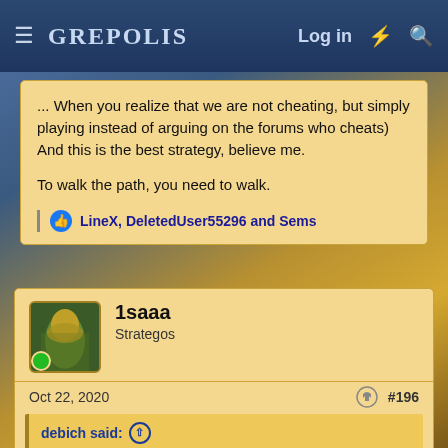GREPOLIS — Log in
... When you realize that we are not cheating, but simply playing instead of arguing on the forums who cheats) And this is the best strategy, believe me.

To walk the path, you need to walk.
LineX, DeletedUser55296 and Sems
1saaa
Strategos
Oct 22, 2020  #196
debich said:
... When you realize that we are not cheating, but simply playing instead of arguing on the forums who cheats) And this is the best strategy, believe me.

To walk the path, you need to walk.